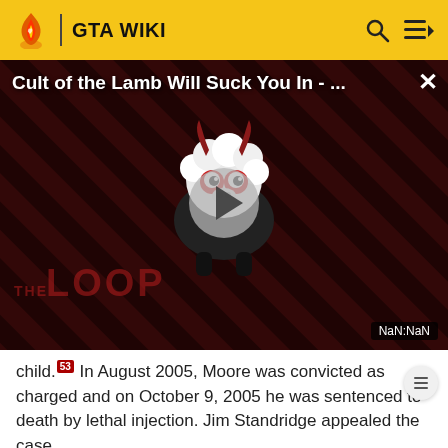GTA WIKI
[Figure (screenshot): Video thumbnail overlay showing 'Cult of the Lamb Will Suck You In - ...' title with a cartoon lamb character mascot on a dark striped background, a play button in the center, 'THE LOOP' watermark text, and a NaN:NaN timestamp. An X close button appears in the top right.]
child.[53] In August 2005, Moore was convicted as charged and on October 9, 2005 he was sentenced to death by lethal injection. Jim Standridge appealed the case.
Cody Posey